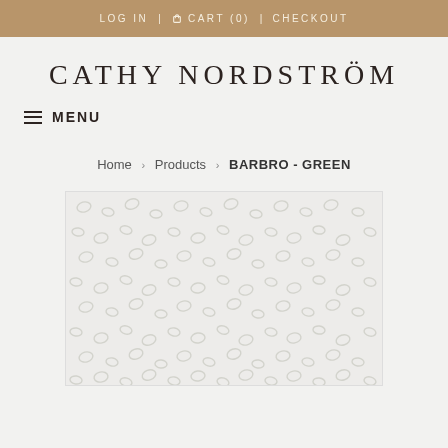LOG IN   CART (0)   CHECKOUT
CATHY NORDSTRÖM
≡ MENU
Home › Products › BARBRO - GREEN
[Figure (photo): Product image of BARBRO - GREEN textile/fabric with a light grey-green leopard print pattern on a white/cream background]